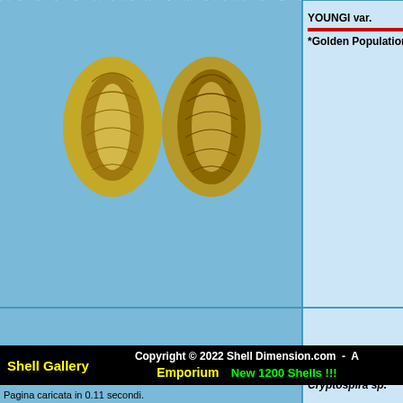[Figure (photo): Two golden-brown shells photographed front and back, top row catalog entry]
YOUNGI var.
*Golden Population !
10.6 mm
HUGE close of 10.7 real sp 10.6 m Mozamb Quelin Dive a 2015. MARG
[Figure (photo): Two cream/orange shells photographed front and back, Cryptospira sp., lower row catalog entry]
°SP° Cryptospira sp. NEW SPECIES !? *Splendid !
26.8 mm
Crypto (SPEC Live Ta Fine++ SPLEN Very ra mm ; P Southe Minda Archip Pilas I Dive a Janua [MARC MARG EXC
Shell Gallery   Copyright © 2022 Shell Dimension.com - A   Emporium   New 1200 Shells !!!
Pagina caricata in 0.11 secondi.